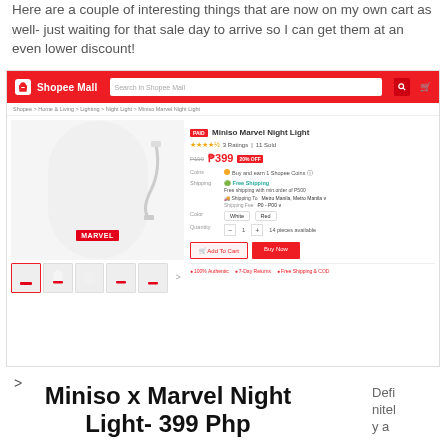Here are a couple of interesting things that are now on my own cart as well- just waiting for that sale day to arrive so I can get them at an even lower discount!
[Figure (screenshot): Screenshot of Shopee Mall product listing for Miniso Marvel Night Light priced at ₱399 with 20% off, showing product images, ratings, shipping details, and buy buttons.]
>
Miniso x Marvel Night Light- 399 Php
Definitely a